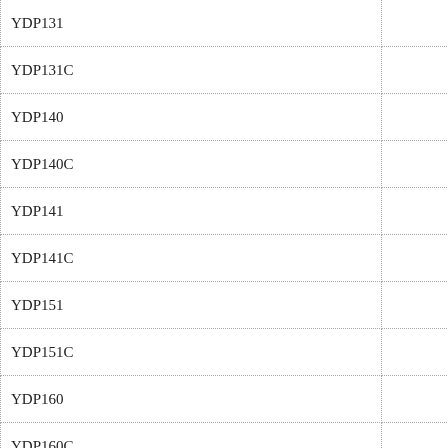| Model |  |
| --- | --- |
| YDP131 |  |
| YDP131C |  |
| YDP140 |  |
| YDP140C |  |
| YDP141 |  |
| YDP141C |  |
| YDP151 |  |
| YDP151C |  |
| YDP160 |  |
| YDP160C |  |
| YDP161 |  |
| YDP161B |  |
| YDP161C |  |